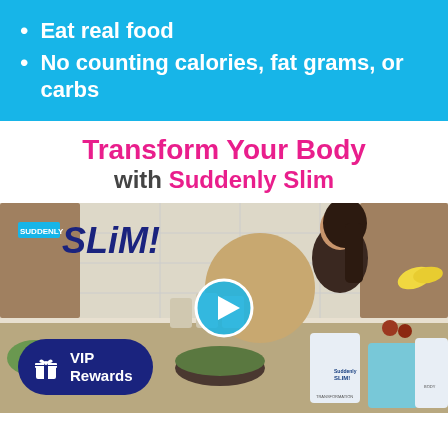Eat real food
No counting calories, fat grams, or carbs
Transform Your Body with Suddenly Slim
[Figure (photo): A woman in a kitchen preparing food with Suddenly Slim products visible. The Suddenly SLIM! logo appears top left. A play button overlay is in the center. A VIP Rewards button appears bottom left. Transformation Body products visible bottom right.]